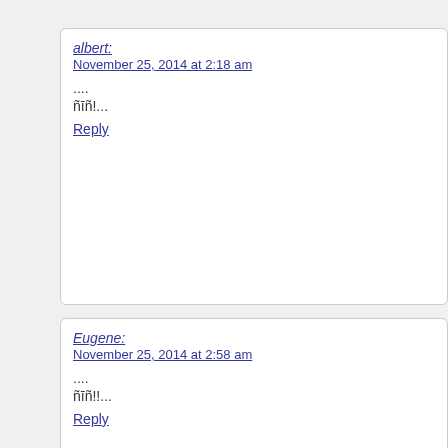albert:
November 25, 2014 at 2:18 am
....
ñīñ!...
Reply
Eugene:
November 25, 2014 at 2:58 am
....
ñīñ!!...
Reply
Tony:
November 25, 2014 at 3:19 am
....
ñïañëáï çà èíôó!!...
Reply
johnny:
November 25, 2014 at 4:10 am
....